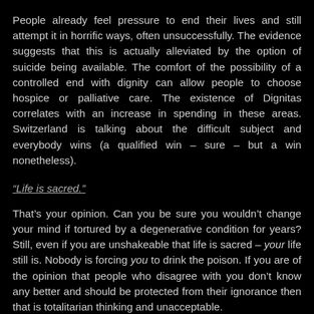People already feel pressure to end their lives and still attempt it in horrific ways, often unsuccessfully. The evidence suggests that this is actually alleviated by the option of suicide being available. The comfort of the possibility of a controlled end with dignity can allow people to choose hospice or palliative care. The existence of Dignitas correlates with an increase in spending in these areas. Switzerland is talking about the difficult subject and everybody wins (a qualified win – sure – but a win nonetheless).
“Life is sacred.”
That’s your opinion. Can you be sure you wouldn’t change your mind if tortured by a degenerative condition for years? Still, even if you are unshakeable that life is sacred – your life still is. Nobody is forcing you to drink the poison. If you are of the opinion that people who disagree with you don’t know any better and should be protected from their ignorance then that is totalitarian thinking and unacceptable.